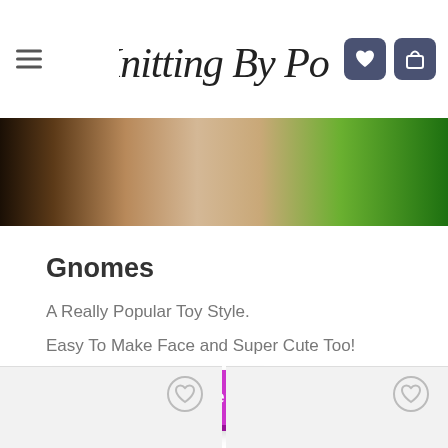Knitting By Post — navigation header with hamburger menu, logo, heart and shopping bag icons
[Figure (photo): Partial view of a knitted gnome toy on grass background, earth and green tones]
Gnomes
A Really Popular Toy Style.
Easy To Make Face and Super Cute Too!
More Gnomes Here
[Figure (other): Two product card thumbnails with heart/wishlist icons, bottom of page]